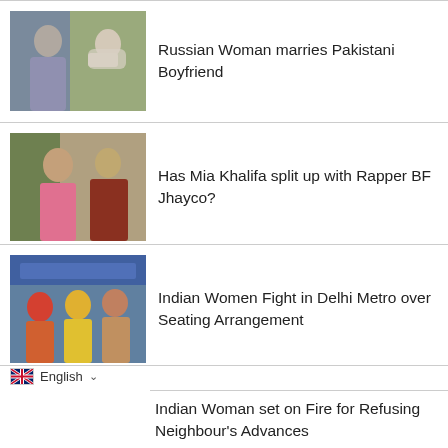[Figure (photo): Two people seated indoors, a young man in grey and a woman in a white headscarf]
Russian Woman marries Pakistani Boyfriend
[Figure (photo): A woman in a pink top and a man in sunglasses and an orange jacket outdoors]
Has Mia Khalifa split up with Rapper BF Jhayco?
[Figure (photo): Women arguing inside a Delhi Metro train]
Indian Women Fight in Delhi Metro over Seating Arrangement
English
Indian Woman set on Fire for Refusing Neighbour's Advances